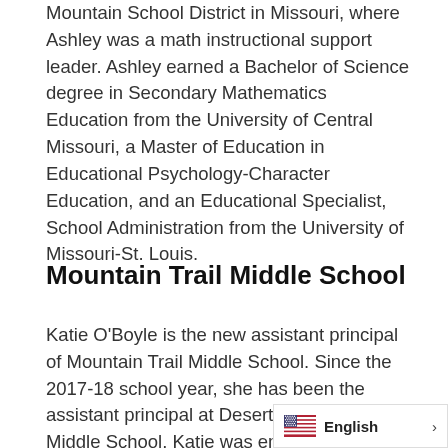...Mountain School District in Missouri, where Ashley was a math instructional support leader. Ashley earned a Bachelor of Science degree in Secondary Mathematics Education from the University of Central Missouri, a Master of Education in Educational Psychology-Character Education, and an Educational Specialist, School Administration from the University of Missouri-St. Louis.
Mountain Trail Middle School
Katie O'Boyle is the new assistant principal of Mountain Trail Middle School. Since the 2017-18 school year, she has been the assistant principal at Desert Shadows Middle School. Katie was employed at Scottsdale Unified School District as an assistant principal and a teacher. She earned her Bachelor of Arts degree in Secondary Education